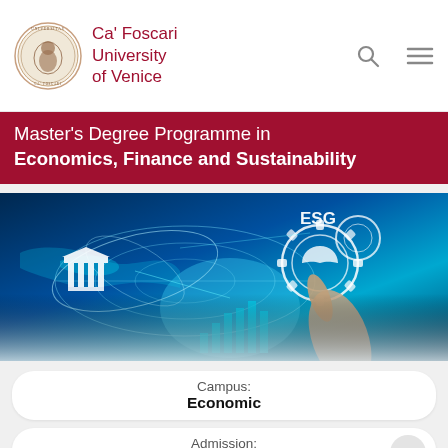Ca' Foscari University of Venice
Master's Degree Programme in Economics, Finance and Sustainability
[Figure (photo): Digital illustration of a hand touching a glowing point on a world map with ESG gear icons, representing economics, finance and sustainability themes]
Campus: Economic
Admission: open